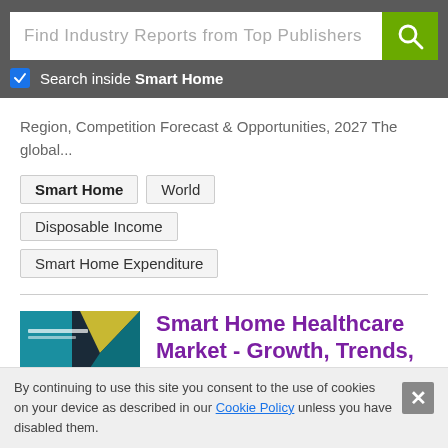Find Industry Reports from Top Publishers
Search inside Smart Home
Region, Competition Forecast & Opportunities, 2027 The global...
Smart Home
World
Disposable Income
Smart Home Expenditure
[Figure (illustration): Thumbnail cover image of Global Smart Home Healthcare Market report with dark blue background and geometric shapes in teal and yellow.]
Smart Home Healthcare Market - Growth, Trends,
By continuing to use this site you consent to the use of cookies on your device as described in our Cookie Policy unless you have disabled them.